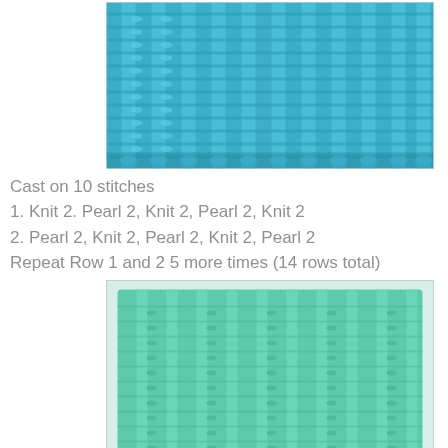[Figure (photo): Close-up photo of teal/turquoise knitting showing a ribbed knit stitch pattern with alternating knit and purl columns]
Cast on 10 stitches
1. Knit 2. Pearl 2, Knit 2, Pearl 2, Knit 2
2. Pearl 2, Knit 2, Pearl 2, Knit 2, Pearl 2
Repeat Row 1 and 2 5 more times (14 rows total)
[Figure (photo): Photo of a completed teal/turquoise knitted swatch showing the 2x2 ribbing pattern, roughly square shaped]